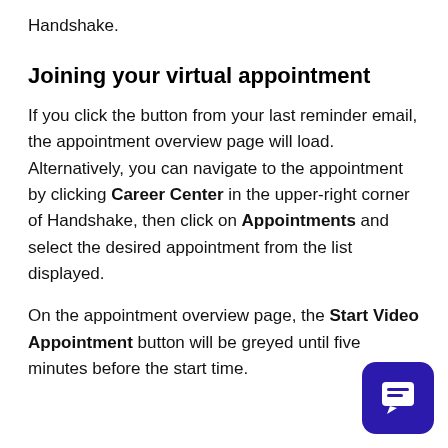Handshake.
Joining your virtual appointment
If you click the button from your last reminder email, the appointment overview page will load. Alternatively, you can navigate to the appointment by clicking Career Center in the upper-right corner of Handshake, then click on Appointments and select the desired appointment from the list displayed.
On the appointment overview page, the Start Video Appointment button will be greyed until five minutes before the start time.